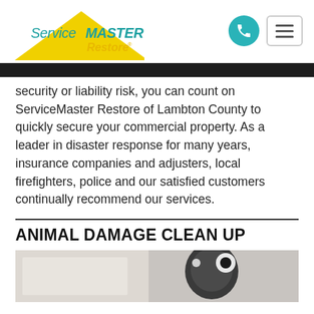[Figure (logo): ServiceMaster Restore logo with yellow triangle and teal/green text]
security or liability risk, you can count on ServiceMaster Restore of Lambton County to quickly secure your commercial property. As a leader in disaster response for many years, insurance companies and adjusters, local firefighters, police and our satisfied customers continually recommend our services.
ANIMAL DAMAGE CLEAN UP
[Figure (photo): Photo showing what appears to be animal damage cleanup related imagery, partially visible at bottom of page]